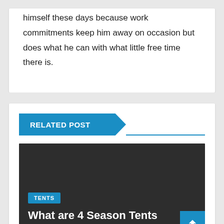himself these days because work commitments keep him away on occasion but does what he can with what little free time there is.
RELATED POST
[Figure (photo): Dark grey image block with TENTS category badge and article title overlay]
What are 4 Season Tents What You Need To Know